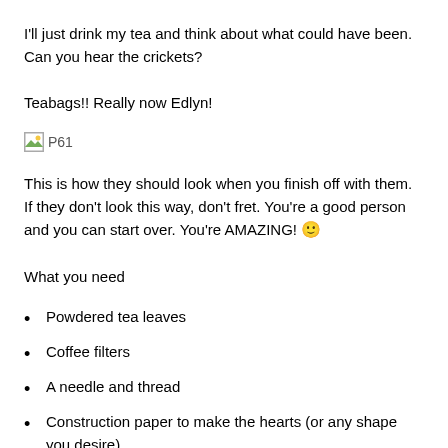I'll just drink my tea and think about what could have been. Can you hear the crickets?
Teabags!! Really now Edlyn!
[Figure (photo): Broken image placeholder labeled P61]
This is how they should look when you finish off with them. If they don't look this way, don't fret. You're a good person and you can start over. You're AMAZING! 🙂
What you need
Powdered tea leaves
Coffee filters
A needle and thread
Construction paper to make the hearts (or any shape you desire)